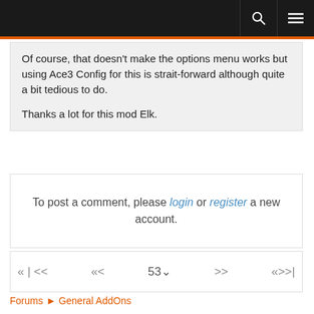Of course, that doesn't make the options menu works but using Ace3 Config for this is strait-forward although quite a bit tedious to do.

Thanks a lot for this mod Elk.
To post a comment, please login or register a new account.
« | << « < 53 ∨ > » « >> |
Forums ► General AddOns